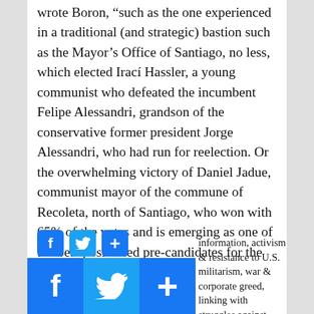wrote Boron, “such as the one experienced in a traditional (and strategic) bastion such as the Mayor’s Office of Santiago, no less, which elected Irací Hassler, a young communist who defeated the incumbent Felipe Alessandri, grandson of the conservative former president Jorge Alessandri, who had run for reelection. Or the overwhelming victory of Daniel Jadue, communist mayor of the commune of Recoleta, north of Santiago, who won with 65% of the votes and is emerging as one of the best positioned pre-candidates for the presidential election to be held in November of this year.”
[Figure (infographic): Small social share icons: Facebook (blue f), Twitter (blue bird), Share (blue plus)]
[Figure (infographic): Large social share icons at bottom: Facebook (blue f), Twitter (blue bird), Share (blue plus)]
information, activism & resistance to U.S. militarism, war & corporate greed, linking with struggles against racism &